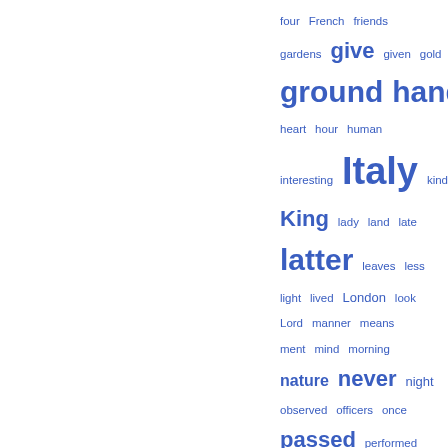[Figure (other): Word cloud (tag cloud) showing words in varying font sizes indicating frequency, displayed in blue on white background. Words include: four, French, friends, gardens, give, given, gold, ground, hand, head, heart, hour, human, interesting, Italy, kind, King, lady, land, late, latter, leaves, less, light, lived, London, look, Lord, manner, means, ment, mind, morning, nature, never, night, observed, officers, once, passed, performed, person, pieces, plants, present, produced, Queen, received, remains, remarkable, roots, Royal, says, scene, seemed]